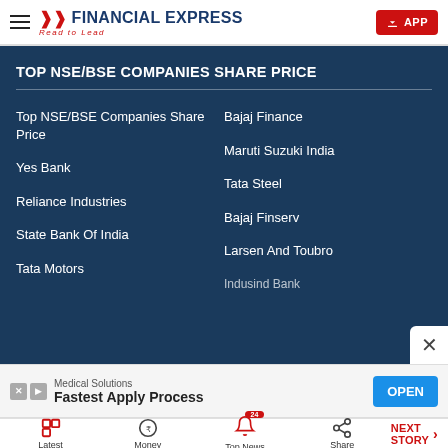FINANCIAL EXPRESS – Read to Lead | APP
TOP NSE/BSE COMPANIES SHARE PRICE
Top NSE/BSE Companies Share Price
Bajaj Finance
Yes Bank
Maruti Suzuki India
Reliance Industries
Tata Steel
State Bank Of India
Bajaj Finserv
Tata Motors
Larsen And Toubro
Indusind Bank
Medical Solutions – Fastest Apply Process – OPEN
Latest | Money | Top News 24 | Share | NEXT STORY